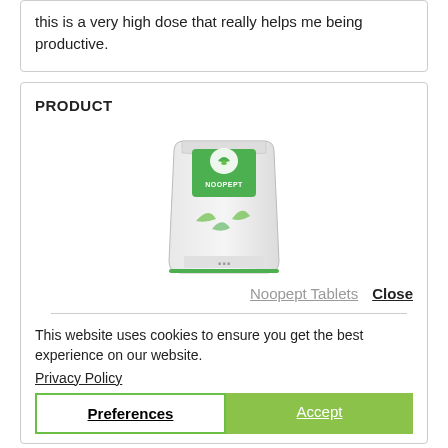this is a very high dose that really helps me being productive.
PRODUCT
[Figure (photo): Product image of Noopept Tablets – white/silver resealable bag with green branding and leaf graphics]
Noopept Tablets   Close
This website uses cookies to ensure you get the best experience on our website.
Privacy Policy
AUTHOR: EDWARD
Review Add on: 01/03/2020
Average Rating:
Really helped with my memory.